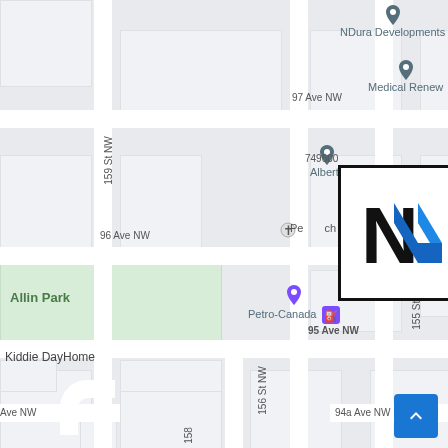[Figure (map): Google Maps screenshot showing street map of Edmonton, NW area. Shows streets: 97 Ave NW, 96 Ave NW, 95 Ave NW, 94a Ave NW, 159 St NW, 156 St NW, 155 St NW, 158 St NW. Points of interest: NDura Developments, Medical Renew, Alberta (with pin), Cjf Marketing, Petro-Canada, Allin Park, Kiddie DayHome, Jasperside Daycare & OSC. A logo box with black 'N' and blue 'N' chevron overlay is shown in the center-left area.]